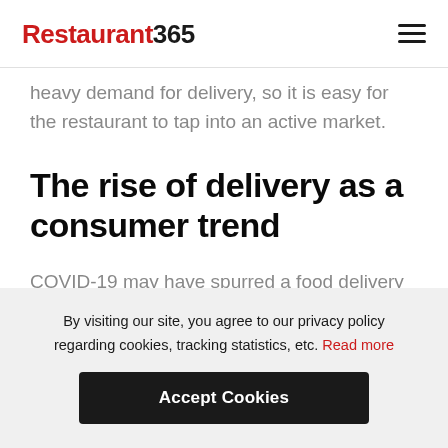Restaurant365
heavy demand for delivery, so it is easy for the restaurant to tap into an active market.
The rise of delivery as a consumer trend
COVID-19 may have spurred a food delivery industry boom, but the data indicates that
By visiting our site, you agree to our privacy policy regarding cookies, tracking statistics, etc. Read more
Accept Cookies